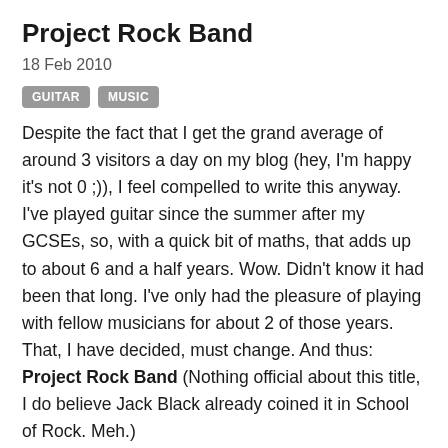Project Rock Band
18 Feb 2010
GUITAR   MUSIC
Despite the fact that I get the grand average of around 3 visitors a day on my blog (hey, I'm happy it's not 0 ;)), I feel compelled to write this anyway. I've played guitar since the summer after my GCSEs, so, with a quick bit of maths, that adds up to about 6 and a half years. Wow. Didn't know it had been that long. I've only had the pleasure of playing with fellow musicians for about 2 of those years. That, I have decided, must change. And thus: Project Rock Band (Nothing official about this title, I do believe Jack Black already coined it in School of Rock. Meh.)
The reinvention of my favourite